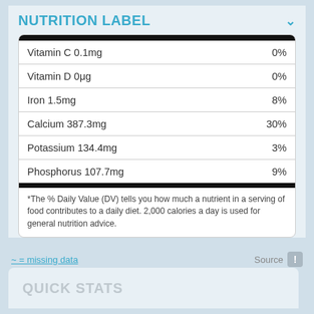NUTRITION LABEL
| Nutrient | %DV |
| --- | --- |
| Vitamin C 0.1mg | 0% |
| Vitamin D 0μg | 0% |
| Iron 1.5mg | 8% |
| Calcium 387.3mg | 30% |
| Potassium 134.4mg | 3% |
| Phosphorus 107.7mg | 9% |
*The % Daily Value (DV) tells you how much a nutrient in a serving of food contributes to a daily diet. 2,000 calories a day is used for general nutrition advice.
~ = missing data
Source
QUICK STATS